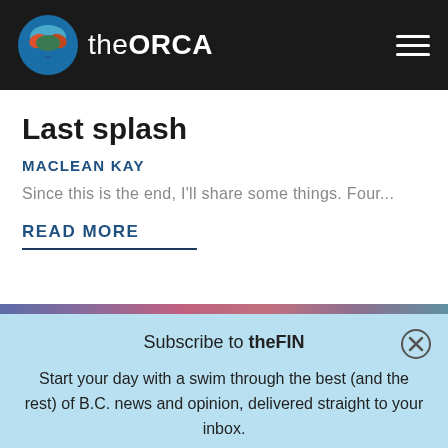theORCA
Last splash
MACLEAN KAY
Since this is the end, I'll share some things. Four...
READ MORE
Subscribe to theFIN
Start your day with a swim through the best (and the rest) of B.C. news and opinion, delivered straight to your inbox.
SUBSCRIBE